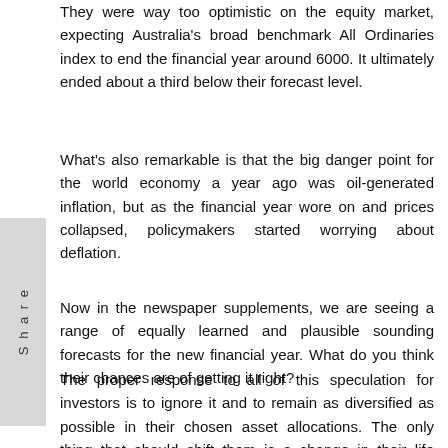They were way too optimistic on the equity market, expecting Australia's broad benchmark All Ordinaries index to end the financial year around 6000. It ultimately ended about a third below their forecast level.
What's also remarkable is that the big danger point for the world economy a year ago was oil-generated inflation, but as the financial year wore on and prices collapsed, policymakers started worrying about deflation.
Now in the newspaper supplements, we are seeing a range of equally learned and plausible sounding forecasts for the new financial year. What do you think their chances are of getting it right?
The proper response to all of this speculation for investors is to ignore it and to remain as diversified as possible in their chosen asset allocations. The only thing that should shift them is a change in their life circumstances or goals.